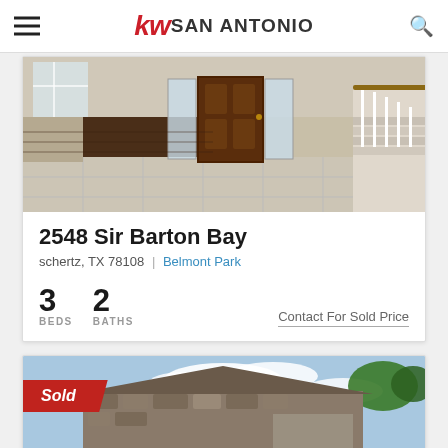kw SAN ANTONIO
[Figure (photo): Interior photo of a home foyer with dark hardwood floors, light tile, a brown front door with sidelights, and a staircase with white balusters]
2548 Sir Barton Bay
schertz, TX 78108 | Belmont Park
3 BEDS  2 BATHS  Contact For Sold Price
[Figure (photo): Exterior photo of a stone house with blue sky and trees; Sold banner overlaid in red]
Sold